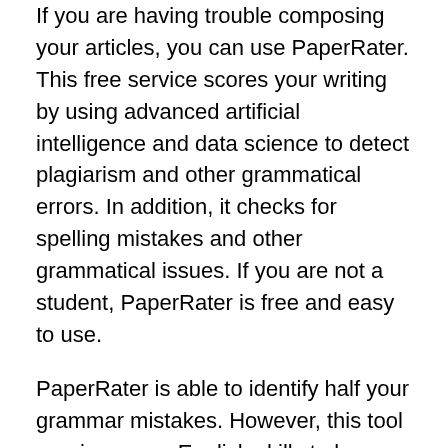If you are having trouble composing your articles, you can use PaperRater. This free service scores your writing by using advanced artificial intelligence and data science to detect plagiarism and other grammatical errors. In addition, it checks for spelling mistakes and other grammatical issues. If you are not a student, PaperRater is free and easy to use.
PaperRater is able to identify half your grammar mistakes. However, this tool requires more English skills to be accurate. PaperRater can be a reliable tool for those students just beginning their careers. PaperRater doesn't require you to install any software. It is cloud-based, and therefore does not require installation.
PaperRater's ability to identify and correct multiple grammar errors and its ability for autocomplete and dictionary features are just a few of the many benefits best paper writing services it offers. PaperRater works